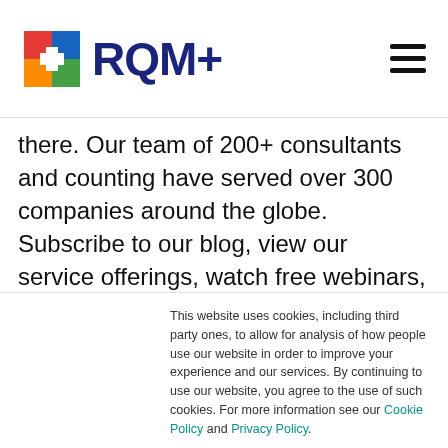[Figure (logo): RQM+ logo with colorful cross icon and dark blue RQM+ text]
there. Our team of 200+ consultants and counting have served over 300 companies around the globe. Subscribe to our blog, view our service offerings, watch free webinars, and more at RQTeam.com.
This website uses cookies, including third party ones, to allow for analysis of how people use our website in order to improve your experience and our services. By continuing to use our website, you agree to the use of such cookies. For more information see our Cookie Policy and Privacy Policy.
If you decline, your information won't be tracked when you visit this website. A single cookie will be used in your browser to remember your preference not to be tracked.